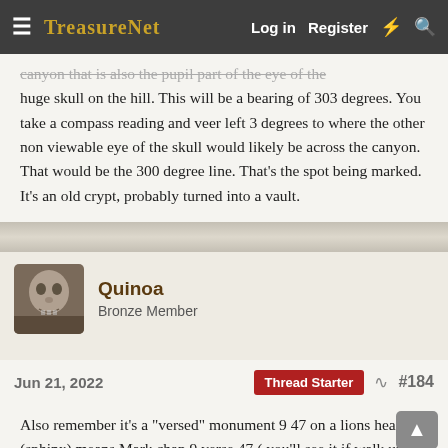TreasureNet  Log in  Register
canyon that is also the pupil part of the eye of the huge skull on the hill. This will be a bearing of 303 degrees. You take a compass reading and veer left 3 degrees to where the other non viewable eye of the skull would likely be across the canyon. That would be the 300 degree line. That's the spot being marked. It's an old crypt, probably turned into a vault.
Quinoa
Bronze Member
Jun 21, 2022    Thread Starter    #184
Also remember it's a "versed" monument 9  47 on a lions head (sphinx) means Mark chap 9 verse 47 ( you'll see it if walk up to the Crescent rock it's above and to